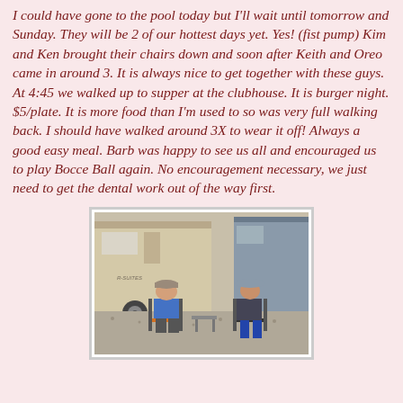I could have gone to the pool today but I'll wait until tomorrow and Sunday. They will be 2 of our hottest days yet. Yes! (fist pump) Kim and Ken brought their chairs down and soon after Keith and Oreo came in around 3. It is always nice to get together with these guys. At 4:45 we walked up to supper at the clubhouse. It is burger night. $5/plate. It is more food than I'm used to so was very full walking back. I should have walked around 3X to wear it off! Always a good easy meal. Barb was happy to see us all and encouraged us to play Bocce Ball again. No encouragement necessary, we just need to get the dental work out of the way first.
[Figure (photo): Two people sitting in folding chairs outdoors next to a large RV/camper. A man on the left wearing a blue shirt and shorts with a grey cap, a woman on the right wearing a hat and dark patterned top, with a small table between them. Gravel ground, sunny day.]